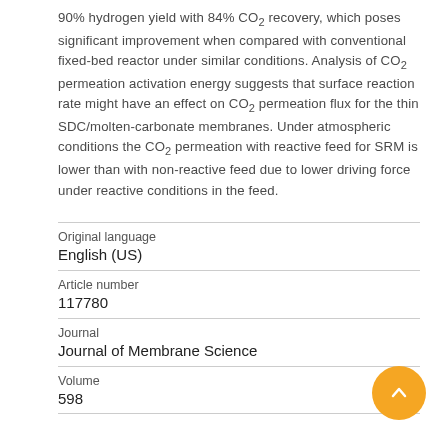90% hydrogen yield with 84% CO₂ recovery, which poses significant improvement when compared with conventional fixed-bed reactor under similar conditions. Analysis of CO₂ permeation activation energy suggests that surface reaction rate might have an effect on CO₂ permeation flux for the thin SDC/molten-carbonate membranes. Under atmospheric conditions the CO₂ permeation with reactive feed for SRM is lower than with non-reactive feed due to lower driving force under reactive conditions in the feed.
| Original language | English (US) |
| Article number | 117780 |
| Journal | Journal of Membrane Science |
| Volume | 598 |